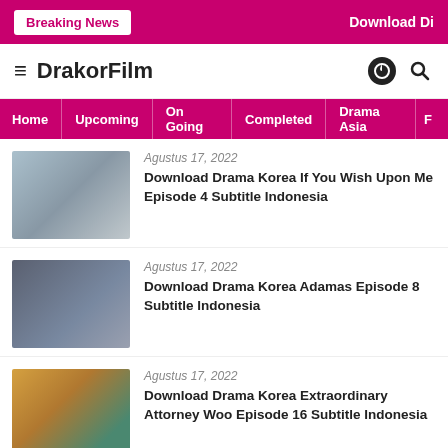Breaking News | Download Di
DrakorFilm
Home | Upcoming | On Going | Completed | Drama Asia | F...
Agustus 17, 2022
Download Drama Korea If You Wish Upon Me Episode 4 Subtitle Indonesia
Agustus 17, 2022
Download Drama Korea Adamas Episode 8 Subtitle Indonesia
Agustus 17, 2022
Download Drama Korea Extraordinary Attorney Woo Episode 16 Subtitle Indonesia
Selengkapnya →